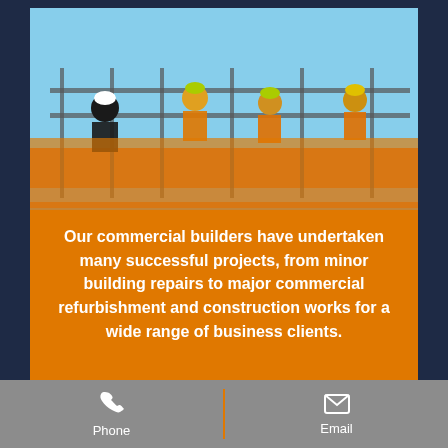[Figure (photo): Construction workers in high-visibility vests and hard hats walking on a steel structure/scaffolding at a building site, with steel beams in the foreground and blue sky in the background.]
Our commercial builders have undertaken many successful projects, from minor building repairs to major commercial refurbishment and construction works for a wide range of business clients.
Phone   Email